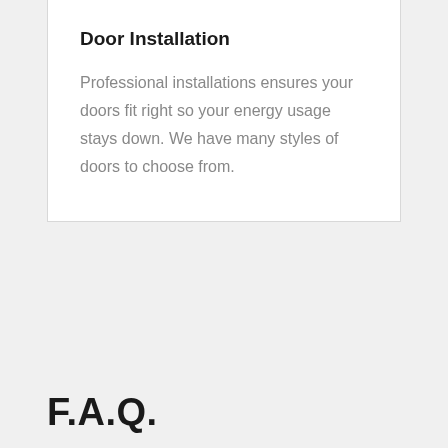Door Installation
Professional installations ensures your doors fit right so your energy usage stays down. We have many styles of doors to choose from.
F.A.Q.